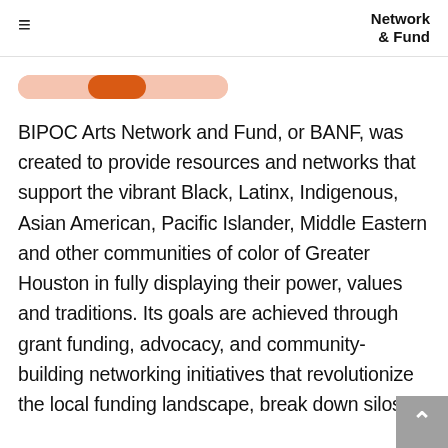Network & Fund
[Figure (other): Navigation pills/tabs row with three segments: two light salmon/pink pill segments flanking one active dark orange pill segment in the center]
BIPOC Arts Network and Fund, or BANF, was created to provide resources and networks that support the vibrant Black, Latinx, Indigenous, Asian American, Pacific Islander, Middle Eastern and other communities of color of Greater Houston in fully displaying their power, values and traditions. Its goals are achieved through grant funding, advocacy, and community-building networking initiatives that revolutionize the local funding landscape, break down silos